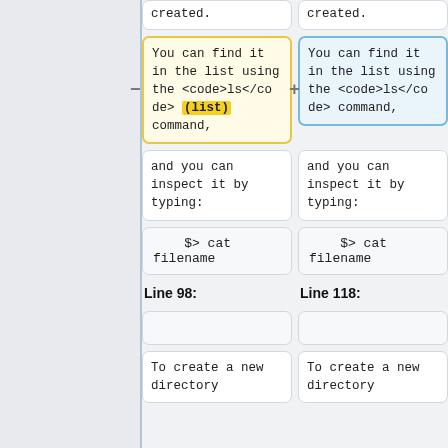created.
created.
You can find it in the list using the <code>ls</code> (list) command,
You can find it in the list using the <code>ls</code> command,
and you can inspect it by typing:
and you can inspect it by typing:
$> cat filename
$> cat filename
Line 98:
Line 118:
To create a new directory
To create a new directory